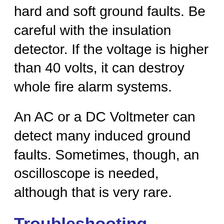hard and soft ground faults. Be careful with the insulation detector. If the voltage is higher than 40 volts, it can destroy whole fire alarm systems.
An AC or a DC Voltmeter can detect many induced ground faults. Sometimes, though, an oscilloscope is needed, although that is very rare.
Troubleshooting - Detect the Ground Fault Without Using the Panel
You have to figure out how to detect the ground fault without using the panel. Take pictures of the wires and terminals on the control panel before